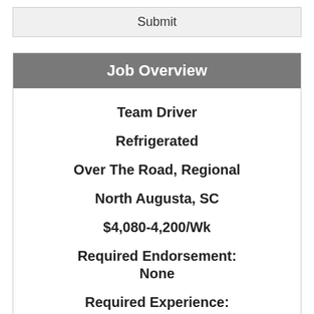Submit
Job Overview
Team Driver
Refrigerated
Over The Road, Regional
North Augusta, SC
$4,080-4,200/Wk
Required Endorsement: None
Required Experience: 1-2 Years